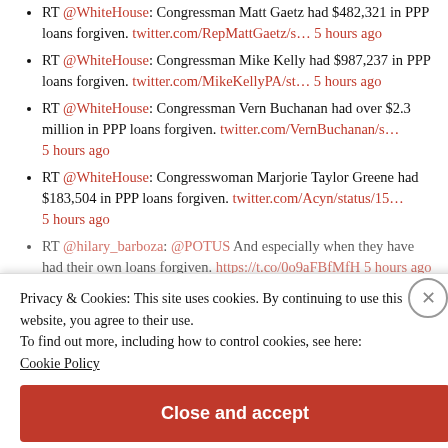RT @WhiteHouse: Congressman Matt Gaetz had $482,321 in PPP loans forgiven. twitter.com/RepMattGaetz/s… 5 hours ago
RT @WhiteHouse: Congressman Mike Kelly had $987,237 in PPP loans forgiven. twitter.com/MikeKellyPA/st… 5 hours ago
RT @WhiteHouse: Congressman Vern Buchanan had over $2.3 million in PPP loans forgiven. twitter.com/VernBuchanan/s… 5 hours ago
RT @WhiteHouse: Congresswoman Marjorie Taylor Greene had $183,504 in PPP loans forgiven. twitter.com/Acyn/status/15… 5 hours ago
RT @hilary_barboza: @POTUS And especially when they have had their own loans forgiven. https://t.co/0o9aFBfMfH 5 hours ago
Privacy & Cookies: This site uses cookies. By continuing to use this website, you agree to their use.
To find out more, including how to control cookies, see here:
Cookie Policy
Close and accept